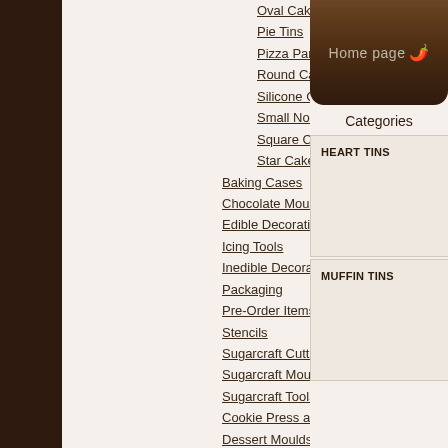Oval Cake tin
Pie Tins
Pizza Pan
Round Cake Tins
Silicone Cake Tins
Small Novelty Tins
Square Cake Tins
Star Cake tin
Baking Cases
Chocolate Moulds
Edible Decorations
Icing Tools
Inedible Decoration
Packaging
Pre-Order Items
Stencils
Sugarcraft Cutters
Sugarcraft Moulds
Sugarcraft Tools
Cookie Press and Cutter
Dessert Moulds
Kitchen Utensils
[Figure (illustration): Home page button with brown gradient background and red chili pepper icon]
Categories
HEART TINS
MUFFIN TINS